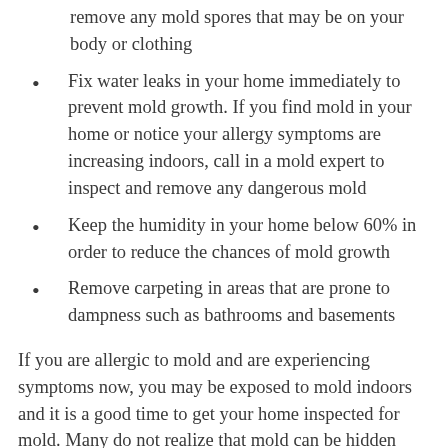remove any mold spores that may be on your body or clothing
Fix water leaks in your home immediately to prevent mold growth. If you find mold in your home or notice your allergy symptoms are increasing indoors, call in a mold expert to inspect and remove any dangerous mold
Keep the humidity in your home below 60% in order to reduce the chances of mold growth
Remove carpeting in areas that are prone to dampness such as bathrooms and basements
If you are allergic to mold and are experiencing symptoms now, you may be exposed to mold indoors and it is a good time to get your home inspected for mold. Many do not realize that mold can be hidden